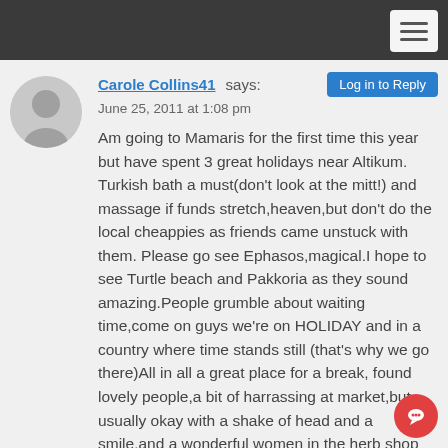Carole Collins41 says:   Log in to Reply
June 25, 2011 at 1:08 pm
Am going to Mamaris for the first time this year but have spent 3 great holidays near Altikum. Turkish bath a must(don't look at the mitt!) and massage if funds stretch,heaven,but don't do the local cheappies as friends came unstuck with them. Please go see Ephasos,magical.I hope to see Turtle beach and Pakkoria as they sound amazing.People grumble about waiting time,come on guys we're on HOLIDAY and in a country where time stands still (that's why we go there)All in all a great place for a break, found lovely people,a bit of harrassing at market,but usually okay with a shake of head and a smile,and a wonderful women in the herb shop who spent 2 hrs talking me through